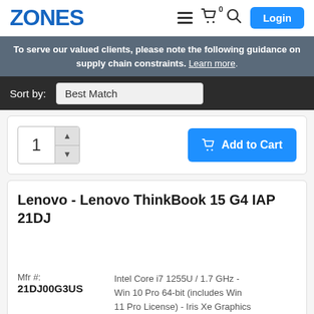ZONES
To serve our valued clients, please note the following guidance on supply chain constraints. Learn more.
Sort by: Best Match
1  Add to Cart
Lenovo - Lenovo ThinkBook 15 G4 IAP 21DJ
Mfr #:
21DJ00G3US
Intel Core i7 1255U / 1.7 GHz - Win 10 Pro 64-bit (includes Win 11 Pro License) - Iris Xe Graphics - 8 GB